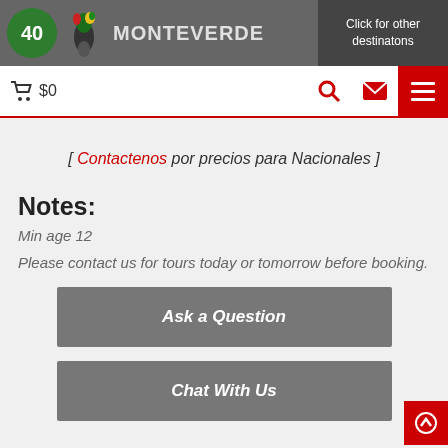MONTEVERDE | Click for other destinatons
[ Contactenos por precios para Nacionales ]
Notes:
Min age 12
Please contact us for tours today or tomorrow before booking.
Ask a Question
Chat With Us